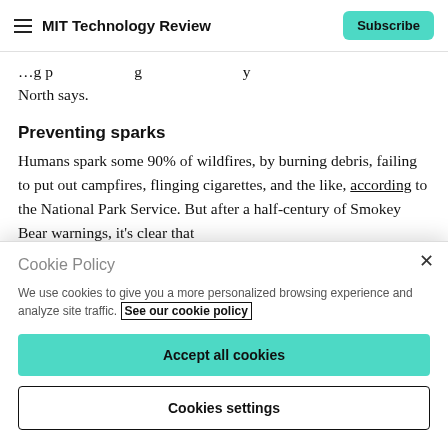MIT Technology Review | Subscribe
…g p g y
North says.
Preventing sparks
Humans spark some 90% of wildfires, by burning debris, failing to put out campfires, flinging cigarettes, and the like, according to the National Park Service. But after a half-century of Smokey Bear warnings, it's clear that…
Cookie Policy
We use cookies to give you a more personalized browsing experience and analyze site traffic. See our cookie policy
Accept all cookies
Cookies settings